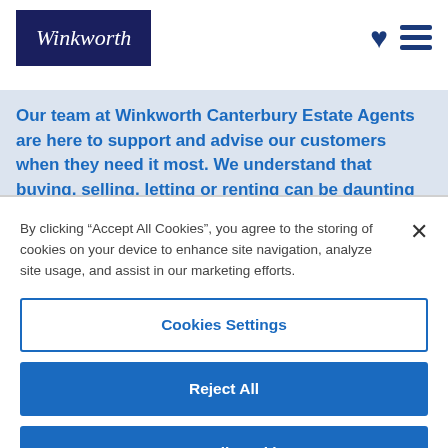Winkworth
Our team at Winkworth Canterbury Estate Agents are here to support and advise our customers when they need it most. We understand that buying, selling, letting or renting can be daunting and often emotionally meaningful. We
By clicking “Accept All Cookies”, you agree to the storing of cookies on your device to enhance site navigation, analyze site usage, and assist in our marketing efforts.
Cookies Settings
Reject All
Accept All Cookies